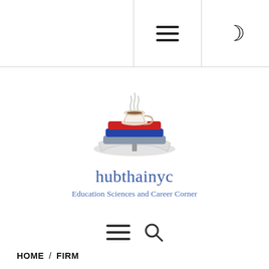Navigation bar with hamburger menu and dark mode toggle
[Figure (logo): Stack of books with a coffee cup on top and steam rising, colored in red, blue, and gray]
hubthainyc
Education Sciences and Career Corner
[Figure (other): Secondary navigation row with hamburger menu icon and search icon]
HOME / FIRM